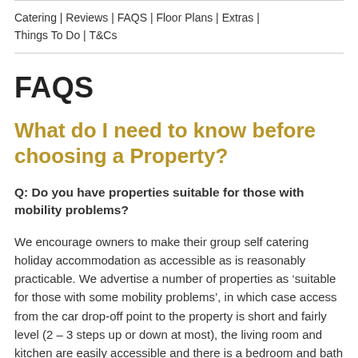Catering | Reviews | FAQS | Floor Plans | Extras | Things To Do | T&Cs
FAQS
What do I need to know before choosing a Property?
Q: Do you have properties suitable for those with mobility problems?
We encourage owners to make their group self catering holiday accommodation as accessible as is reasonably practicable. We advertise a number of properties as ‘suitable for those with some mobility problems’, in which case access from the car drop-off point to the property is short and fairly level (2 – 3 steps up or down at most), the living room and kitchen are easily accessible and there is a bedroom and bath or shower-room with w.c. on the ground floor. If we say a property is